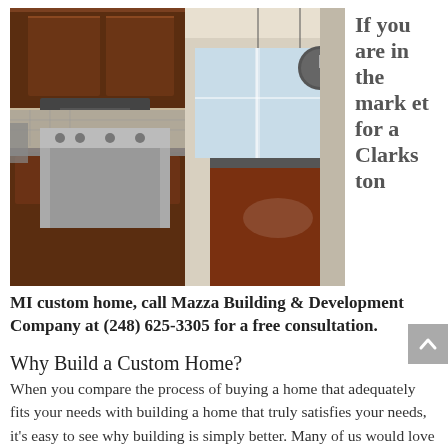[Figure (photo): Interior kitchen photo showing dark wood cabinets, stainless steel appliances, pendant lights, and hardwood floors in a custom home.]
If you are in the market for a Clarkston
MI custom home, call Mazza Building & Development Company at (248) 625-3305 for a free consultation.
Why Build a Custom Home?
When you compare the process of buying a home that adequately fits your needs with building a home that truly satisfies your needs, it's easy to see why building is simply better. Many of us would love to design and build a dream home, the house created just for us in the town we live in, the affordable...